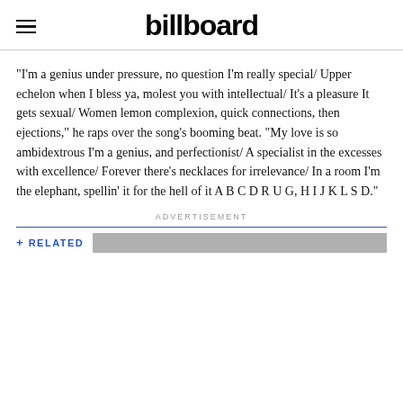billboard
“I’m a genius under pressure, no question I’m really special/ Upper echelon when I bless ya, molest you with intellectual/ It’s a pleasure It gets sexual/ Women lemon complexion, quick connections, then ejections,” he raps over the song’s booming beat. “My love is so ambidextrous I’m a genius, and perfectionist/ A specialist in the excesses with excellence/ Forever there’s necklaces for irrelevance/ In a room I’m the elephant, spellin’ it for the hell of it A B C D R U G, H I J K L S D.”
ADVERTISEMENT
+ RELATED